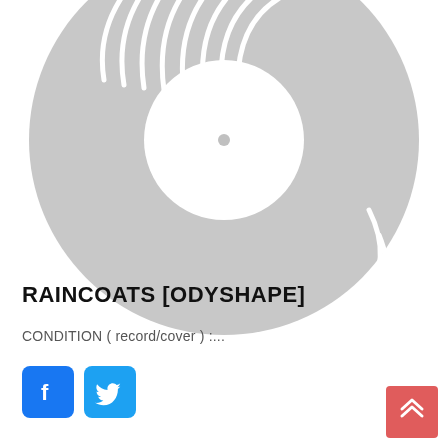[Figure (illustration): A gray vinyl record illustration, partially cropped at the top, with white groove lines and a white center label area with a small center hole dot.]
RAINCOATS [ODYSHAPE]
CONDITION ( record/cover ) :...
[Figure (other): Facebook and Twitter social share buttons side by side]
[Figure (other): Scroll-to-top button with double chevron up arrow, salmon/red background, bottom right corner]